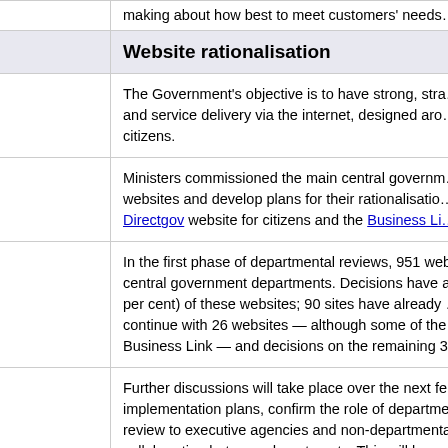making about how best to meet customers' needs…
Website rationalisation
The Government's objective is to have strong, straightforward communication and service delivery via the internet, designed around the needs of citizens.
Ministers commissioned the main central government departments to review their websites and develop plans for their rationalisation. The aim is to consolidate around the Directgov website for citizens and the Business Link…
In the first phase of departmental reviews, 951 websites were identified across 17 central government departments. Decisions have already been made on 590 (62 per cent) of these websites; 90 sites have already been closed, departments plan to continue with 26 websites — although some of these will be redirected to Directgov or Business Link — and decisions on the remaining 3…
Further discussions will take place over the next few months to finalise implementation plans, confirm the role of departmental websites, and to extend the review to executive agencies and non-departmental public bodies, and to encourage collaboration between departments. This will be co…
Directgov
is an award-winning cross-government transformation programme. Launched in 2004, it has grown from 800,000 customer visits…